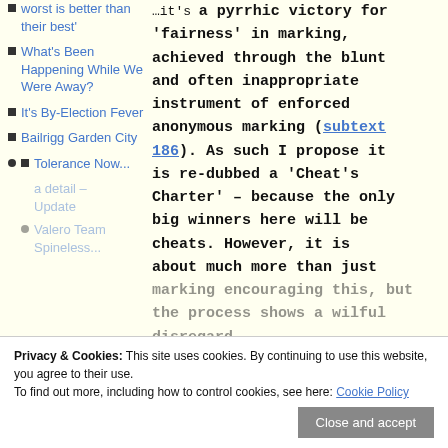worst is better than their best'
What's Been Happening While We Were Away?
It's By-Election Fever
Bailrigg Garden City
Tolerance Now...
...it's a pyrrhic victory for 'fairness' in marking, achieved through the blunt and often inappropriate instrument of enforced anonymous marking (subtext 186). As such I propose it is re-dubbed a 'Cheat's Charter' – because the only big winners here will be cheats. However, it is about much more than just marking encouraging this, but the process shows a wilful disregard for education, professionalism and oversight in the
Privacy & Cookies: This site uses cookies. By continuing to use this website, you agree to their use. To find out more, including how to control cookies, see here: Cookie Policy
Close and accept